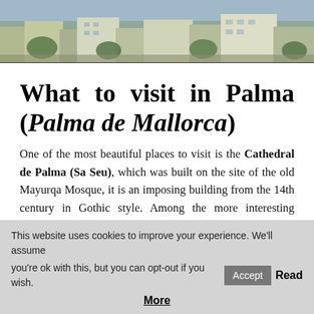[Figure (photo): Aerial/elevated view of a Mediterranean city (Palma de Mallorca) showing rooftops and buildings.]
What to visit in Palma (Palma de Mallorca)
One of the most beautiful places to visit is the Cathedral de Palma (Sa Seu), which was built on the site of the old Mayurqa Mosque, it is an imposing building from the 14th century in Gothic style. Among the more interesting buildings are the Almudaina Palace, which was a Muslim palace and its Chapel of Santa Ana in Gothic style nearby the Cathedral. La Lonia (Sa Llotia) one of the civil buildings
This website uses cookies to improve your experience. We'll assume you're ok with this, but you can opt-out if you wish. Accept Read More